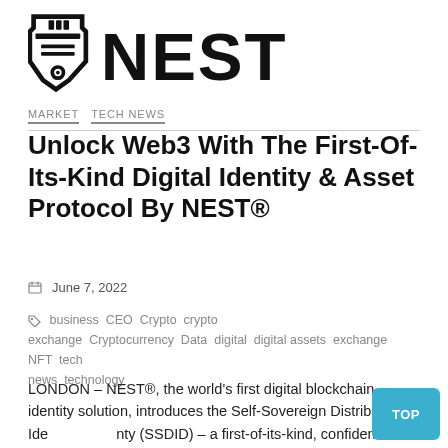[Figure (logo): NEST logo: shield/badge icon on the left and large bold text 'NEST' on the right]
MARKET   TECH NEWS
Unlock Web3 With The First-Of-Its-Kind Digital Identity & Asset Protocol By NEST®
June 7, 2022
business CEO Crypto crypto exchange Cryptocurrency Data digital digital assets exchange NFT tech news technology
LONDON – NEST®, the world’s first digital blockchain identity solution, introduces the Self-Sovereign Distributed Identity (SSDID) – a first-of-its-kind, confidential digital identity protocol. Through encrypted ownership, crypto and NFT lovers